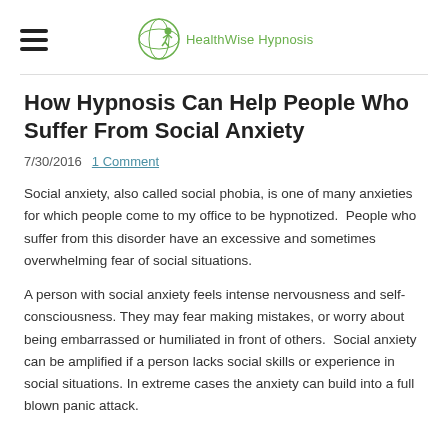HealthWise Hypnosis
How Hypnosis Can Help People Who Suffer From Social Anxiety
7/30/2016  1 Comment
Social anxiety, also called social phobia, is one of many anxieties for which people come to my office to be hypnotized.  People who suffer from this disorder have an excessive and sometimes overwhelming fear of social situations.
A person with social anxiety feels intense nervousness and self-consciousness. They may fear making mistakes, or worry about being embarrassed or humiliated in front of others.  Social anxiety can be amplified if a person lacks social skills or experience in social situations. In extreme cases the anxiety can build into a full blown panic attack.